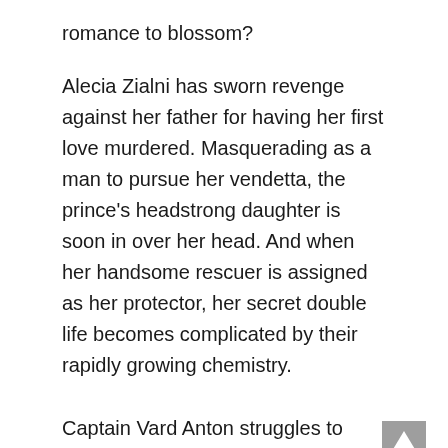romance to blossom?
Alecia Zialni has sworn revenge against her father for having her first love murdered. Masquerading as a man to pursue her vendetta, the prince’s headstrong daughter is soon in over her head. And when her handsome rescuer is assigned as her protector, her secret double life becomes complicated by their rapidly growing chemistry.
Captain Vard Anton struggles to control his budding lust for the determined princess he’s supposed to defend. And as an animal